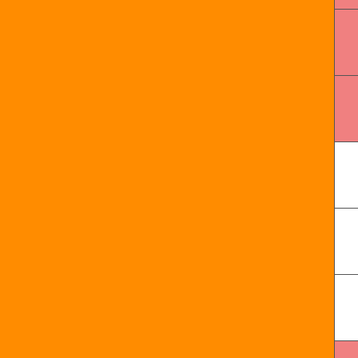| Date | Time | ID | Value | Extra |
| --- | --- | --- | --- | --- |
| 17/10/2004 | 18.00 | 1012 | 24.2 |  |
| 17/10/2004 | 7.00 | 1014 | 22.4 |  |
| 16/10/2004 | 23.00 | 1014 | 23.2 | 22 |
| 16/10/2004 | 18.00 | 1014 | 24.4 |  |
| 16/10/2004 | 7.00 | 1015 | 22.4 |  |
| 15/10/2004 | 23.00 | 1016 | 23.9 | 23 |
| 15/10/2004 | 18.00 | 1015 | 26.0 |  |